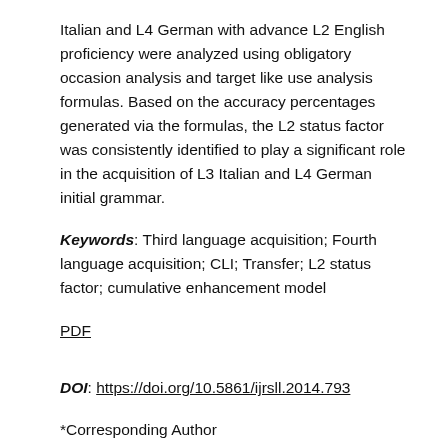Italian and L4 German with advance L2 English proficiency were analyzed using obligatory occasion analysis and target like use analysis formulas. Based on the accuracy percentages generated via the formulas, the L2 status factor was consistently identified to play a significant role in the acquisition of L3 Italian and L4 German initial grammar.
Keywords: Third language acquisition; Fourth language acquisition; CLI; Transfer; L2 status factor; cumulative enhancement model
PDF
DOI: https://doi.org/10.5861/ijrsll.2014.793
*Corresponding Author